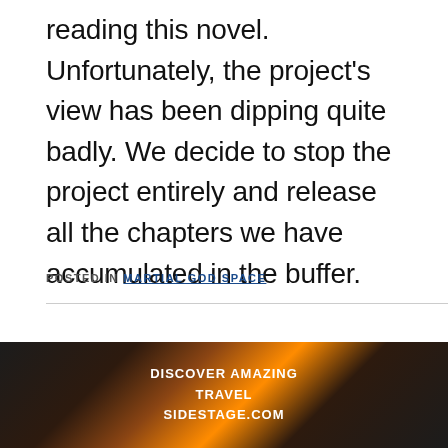reading this novel. Unfortunately, the project's view has been dipping quite badly. We decide to stop the project entirely and release all the chapters we have accumulated in the buffer.
POSTED IN MARTIAL GOD SPACE
Previous chapter: Chapter 942: The Canary Behind the Mantis Preying on Cicada
[Figure (photo): Advertisement banner with sunset/travel scenery background showing text: DISCOVER AMAZING TRAVEL SIDESTAGE.COM]